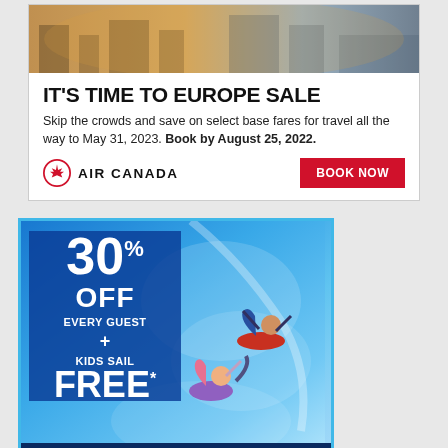[Figure (photo): Air Canada advertisement top photo showing European street scene with warm golden tones]
IT'S TIME TO EUROPE SALE
Skip the crowds and save on select base fares for travel all the way to May 31, 2023. Book by August 25, 2022.
[Figure (logo): Air Canada logo with maple leaf emblem and BOOK NOW red button]
[Figure (photo): Royal Caribbean International advertisement showing 30% OFF Every Guest + Kids Sail FREE* with people on water slides, LEARN MORE yellow button]